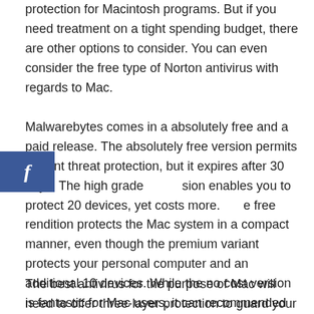protection for Macintosh programs. But if you need treatment on a tight spending budget, there are other options to consider. You can even consider the free type of Norton antivirus with regards to Mac.
Malwarebytes comes in a absolutely free and a paid release. The absolutely free version permits current threat protection, but it expires after 30 days. The high grade sion enables you to protect 20 devices, yet costs more. e free rendition protects the Mac system in a compact manner, even though the premium variant protects your personal computer and an additional 10 devices. While the no cost version is fantastic for Mac users, it can recommended that you consider the premium rendition for added features.
The best antivirus for the purpose of Mac will need to offer three-layer protection to guard your data by malware. The